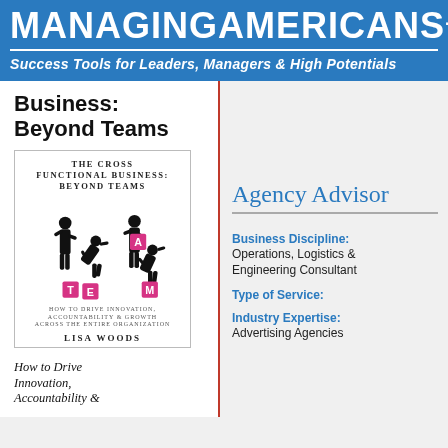MANAGINGAMERICANS.com
Success Tools for Leaders, Managers & High Potentials
Business: Beyond Teams
[Figure (illustration): Book cover of 'The Cross Functional Business: Beyond Teams' by Lisa Woods, showing silhouettes of businesspeople arranging TEAM letter tiles, with subtitle 'How to Drive Innovation, Accountability & Growth Across the Entire Organization']
How to Drive Innovation, Accountability &
Agency Advisor
Business Discipline: Operations, Logistics & Engineering Consultant
Type of Service:
Industry Expertise: Advertising Agencies